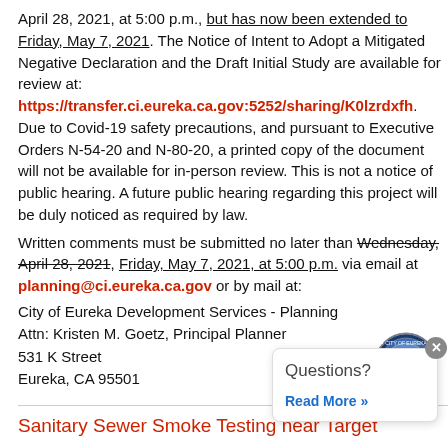April 28, 2021, at 5:00 p.m., but has now been extended to Friday, May 7, 2021. The Notice of Intent to Adopt a Mitigated Negative Declaration and the Draft Initial Study are available for review at: https://transfer.ci.eureka.ca.gov:5252/sharing/K0lzrdxfh. Due to Covid-19 safety precautions, and pursuant to Executive Orders N-54-20 and N-80-20, a printed copy of the document will not be available for in-person review. This is not a notice of public hearing. A future public hearing regarding this project will be duly noticed as required by law. Written comments must be submitted no later than Wednesday, April 28, 2021, Friday, May 7, 2021, at 5:00 p.m. via email at planning@ci.eureka.ca.gov or by mail at:
City of Eureka Development Services - Planning
Attn: Kristen M. Goetz, Principal Planner
531 K Street
Eureka, CA 95501
Sanitary Sewer Smoke Testing near Target